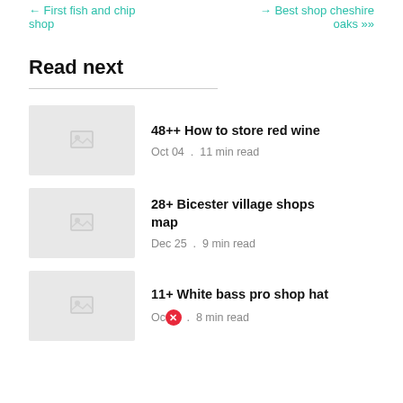← First fish and chip shop
→ Best shop cheshire oaks »»
Read next
48++ How to store red wine — Oct 04 . 11 min read
28+ Bicester village shops map — Dec 25 . 9 min read
11+ White bass pro shop hat — Oct . 8 min read